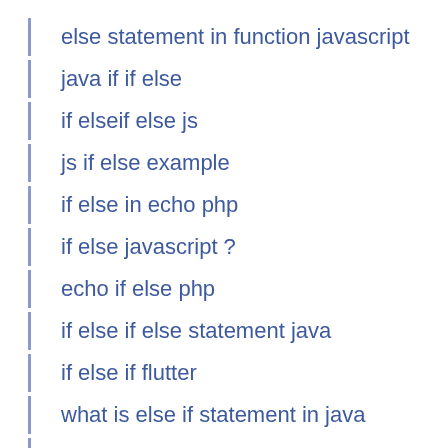else statement in function javascript
java if if else
if elseif else js
js if else example
if else in echo php
if else javascript ?
echo if else php
if else if else statement java
if else if flutter
what is else if statement in java
what is else if statement
if-else statement with logical operators in java
or in if condition java
if else if statement php